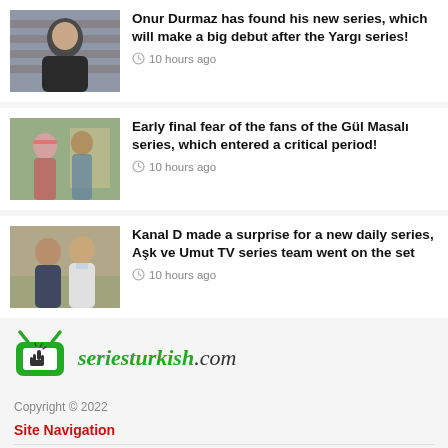[Figure (photo): Thumbnail photo of a young man against a brick wall background]
Onur Durmaz has found his new series, which will make a big debut after the Yargı series!
10 hours ago
[Figure (photo): Thumbnail photo of two people in a room]
Early final fear of the fans of the Gül Masalı series, which entered a critical period!
10 hours ago
[Figure (photo): Thumbnail photo of two men posing together]
Kanal D made a surprise for a new daily series, Aşk ve Umut TV series team went on the set
10 hours ago
[Figure (logo): seriesturkish.com logo with green TV icon]
Copyright © 2022
Site Navigation